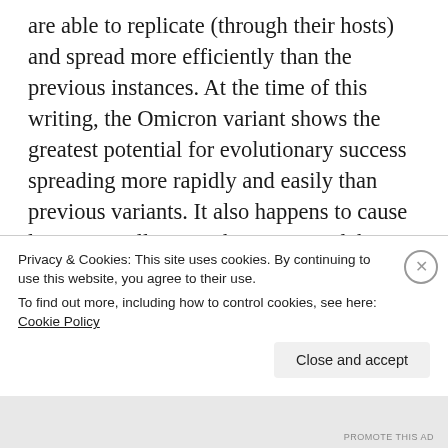are able to replicate (through their hosts) and spread more efficiently than the previous instances. At the time of this writing, the Omicron variant shows the greatest potential for evolutionary success spreading more rapidly and easily than previous variants. It also happens to cause less severe illness to the vaccinated, but that's not an evolutionary criterion. Of course viruses themselves are merely genetic material that cannot replicate without a host cell's machinery, but they are still affected by natural selection because of
Privacy & Cookies: This site uses cookies. By continuing to use this website, you agree to their use.
To find out more, including how to control cookies, see here: Cookie Policy